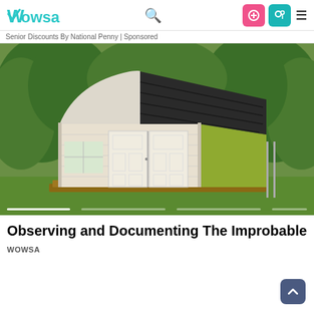WOWSA
Senior Discounts By National Penny | Sponsored
[Figure (photo): A barn-style wooden storage shed with white painted siding and dark shingle roof, sitting on a wooden pallet on a green lawn, surrounded by trees and a chain-link fence. Carousel indicators visible at the bottom.]
Observing and Documenting The Improbable
WOWSA